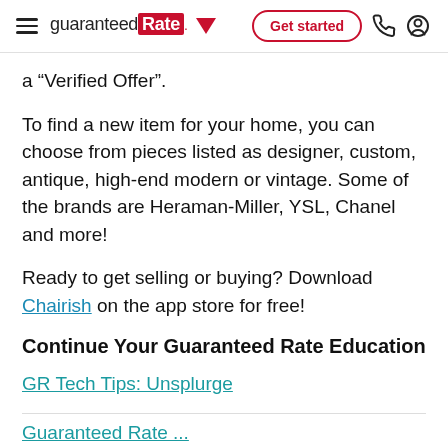guaranteed Rate — Get started
a “Verified Offer”.
To find a new item for your home, you can choose from pieces listed as designer, custom, antique, high-end modern or vintage. Some of the brands are Heraman-Miller, YSL, Chanel and more!
Ready to get selling or buying? Download Chairish on the app store for free!
Continue Your Guaranteed Rate Education
GR Tech Tips: Unsplurge
Guaranteed Rate ...